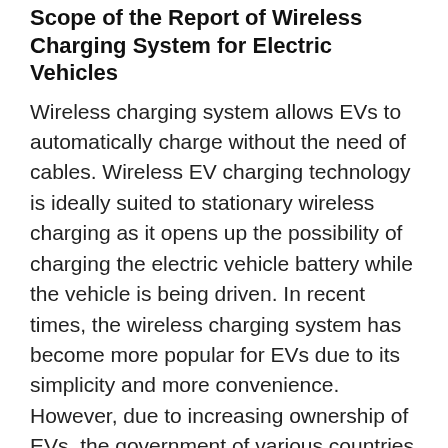Scope of the Report of Wireless Charging System for Electric Vehicles
Wireless charging system allows EVs to automatically charge without the need of cables. Wireless EV charging technology is ideally suited to stationary wireless charging as it opens up the possibility of charging the electric vehicle battery while the vehicle is being driven. In recent times, the wireless charging system has become more popular for EVs due to its simplicity and more convenience. However, due to increasing ownership of EVs, the government of various countries is constructing EV corridors.